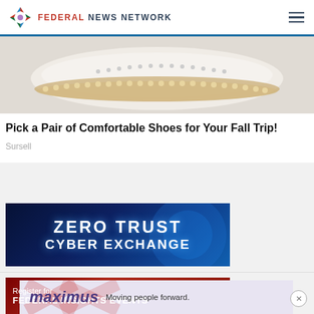FEDERAL NEWS NETWORK
[Figure (photo): Close-up of a white and brown leather moccasin shoe sole]
Pick a Pair of Comfortable Shoes for Your Fall Trip!
Sursell
[Figure (other): Zero Trust Cyber Exchange banner advertisement with blue glowing text on dark blue background]
[Figure (other): Register for Federal INSIGHTS EVENTS banner advertisement on red background with US Capitol building silhouette]
[Figure (other): Maximus Moving people forward advertisement banner on purple/lavender background]